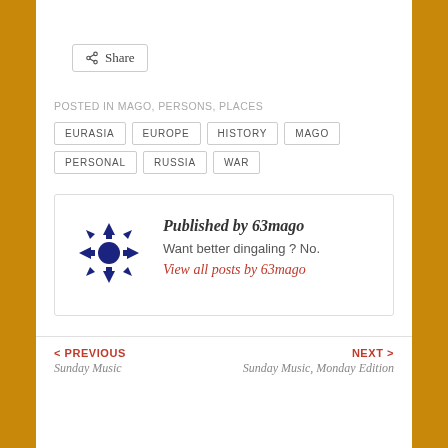[Figure (screenshot): Share button with share icon]
POSTED IN MAGO, PERSONS, PLACES
EURASIA
EUROPE
HISTORY
MAGO
PERSONAL
RUSSIA
WAR
Published by 63mago
Want better dingaling ? No.
View all posts by 63mago
< PREVIOUS
Sunday Music
NEXT >
Sunday Music, Monday Edition